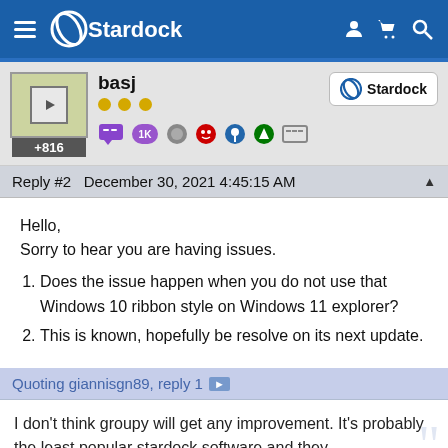Stardock
basj +816
Reply #2   December 30, 2021 4:45:15 AM
Hello,
Sorry to hear you are having issues.
Does the issue happen when you do not use that Windows 10 ribbon style on Windows 11 explorer?
This is known, hopefully be resolve on its next update.
Quoting giannisgn89, reply 1
I don't think groupy will get any improvement. It's probably the least popular stardock software and they